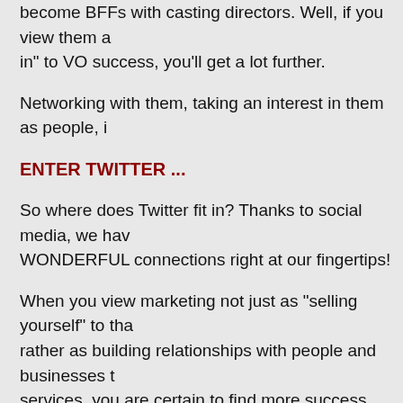become BFFs with casting directors. Well, if you view them as "in" to VO success, you'll get a lot further.
Networking with them, taking an interest in them as people, i
ENTER TWITTER ...
So where does Twitter fit in? Thanks to social media, we have WONDERFUL connections right at our fingertips!
When you view marketing not just as "selling yourself" to that rather as building relationships with people and businesses that services, you are certain to find more success.
Twitter isn't just about posting information about yourself. It's conversations and truly gaining an interest in the people you
To make the most of your time on Twitter, you want to post cr The goal is to get the attention of your target audiences, get